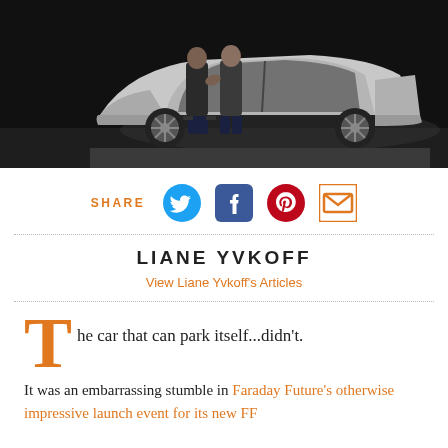[Figure (photo): Two men shaking hands in front of a silver electric SUV on a dark background]
SHARE
[Figure (infographic): Social share icons: Twitter bird, Facebook f, Pinterest p circle, email envelope]
LIANE YVKOFF
View Liane Yvkoff's Articles
The car that can park itself...didn't.
It was an embarrassing stumble in Faraday Future's otherwise impressive launch event for its new FF